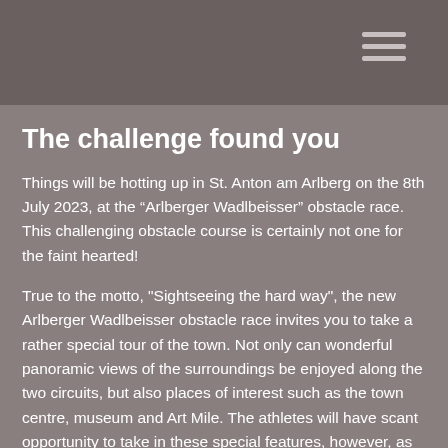The challenge found you
Things will be hotting up in St. Anton am Arlberg on the 8th July 2023, at the “Arlberger Wadlbeisser” obstacle race. This challenging obstacle course is certainly not one for the faint hearted!
True to the motto, "Sightseeing the hard way", the new Arlberger Wadlbeisser obstacle race invites you to take a rather special tour of the town. Not only can wonderful panoramic views of the surroundings be enjoyed along the two circuits, but also places of interest such as the town centre, museum and Art Mile. The athletes will have scant opportunity to take in these special features, however, as they crawl, climb, swim and balance their way through the obstacle